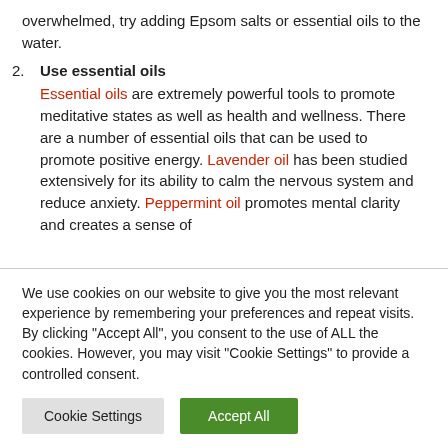overwhelmed, try adding Epsom salts or essential oils to the water.
2. Use essential oils
Essential oils are extremely powerful tools to promote meditative states as well as health and wellness. There are a number of essential oils that can be used to promote positive energy. Lavender oil has been studied extensively for its ability to calm the nervous system and reduce anxiety. Peppermint oil promotes mental clarity and creates a sense of
We use cookies on our website to give you the most relevant experience by remembering your preferences and repeat visits. By clicking "Accept All", you consent to the use of ALL the cookies. However, you may visit "Cookie Settings" to provide a controlled consent.